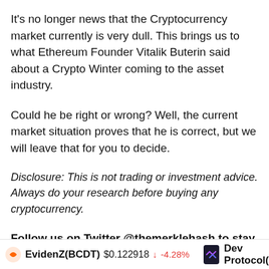It's no longer news that the Cryptocurrency market currently is very dull. This brings us to what Ethereum Founder Vitalik Buterin said about a Crypto Winter coming to the asset industry.
Could he be right or wrong? Well, the current market situation proves that he is correct, but we will leave that for you to decide.
Disclosure: This is not trading or investment advice. Always do your research before buying any cryptocurrency.
Follow us on Twitter @themerklehash to stay updated with the latest Metaverse news!
EvidenZ(BCDT) $0.122918 ↓ -4.28%   Dev Protocol(DEV)